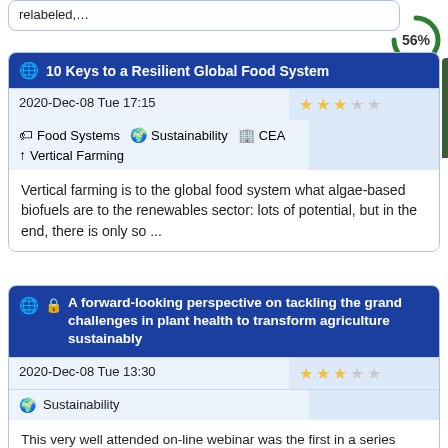relabeled,…
10 Keys to a Resilient Global Food System
2020-Dec-08 Tue 17:15
Food Systems  Sustainability  CEA  Vertical Farming
Vertical farming is to the global food system what algae-based biofuels are to the renewables sector: lots of potential, but in the end, there is only so ...
A forward-looking perspective on tackling the grand challenges in plant health to transform agriculture sustainably
2020-Dec-08 Tue 13:30
Sustainability
This very well attended on-line webinar was the first in a series hosted by CambPlants Hub to celebrate the FAO's International Year of Plant Health. Supported by Cambridge Global Food Security, IBS, #Around Food Awards, NIAB and...